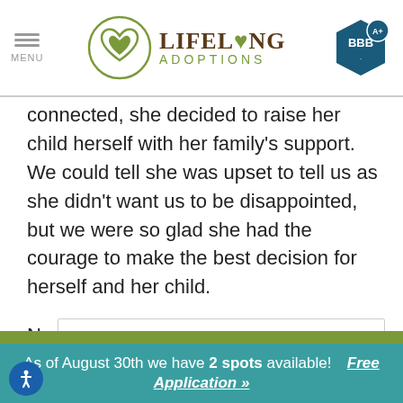MENU | Lifelong Adoptions | BBB A+
connected, she decided to raise her child herself with her family's support. We could tell she was upset to tell us as she didn't want us to be disappointed, but we were so glad she had the courage to make the best decision for herself and her child.
Nevertheless, we were devastated. We had lost an exciting idea of what our family would look like, and it was sad to let it go.
As of August 30th we have 2 spots available! Free Application »